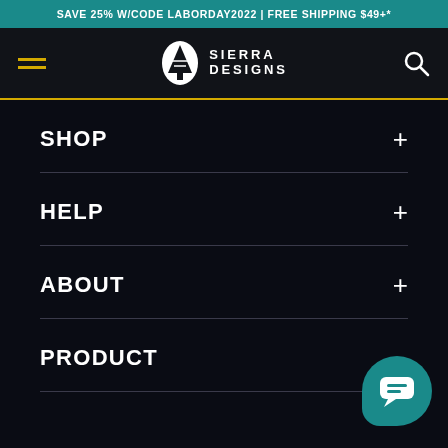SAVE 25% W/CODE LABORDAY2022 | FREE SHIPPING $49+*
[Figure (logo): Sierra Designs logo with tree icon and wordmark SIERRA DESIGNS, hamburger menu icon and search icon on dark navbar with yellow underline]
SHOP
HELP
ABOUT
PRODUCT